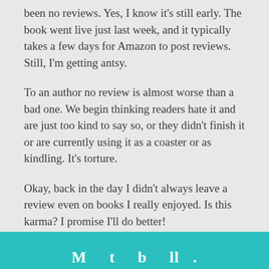been no reviews. Yes, I know it's still early. The book went live just last week, and it typically takes a few days for Amazon to post reviews. Still, I'm getting antsy.
To an author no review is almost worse than a bad one. We begin thinking readers hate it and are just too kind to say so, or they didn't finish it or are currently using it as a coaster or as kindling. It's torture.
Okay, back in the day I didn't always leave a review even on books I really enjoyed. Is this karma? I promise I'll do better!
[Figure (other): Teal/turquoise banner at the bottom of the page with white bold text partially visible]